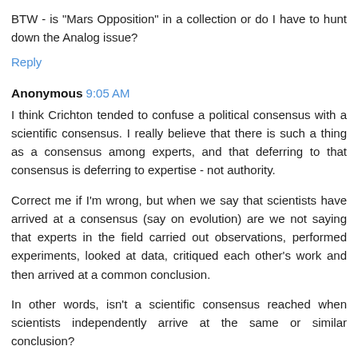BTW - is "Mars Opposition" in a collection or do I have to hunt down the Analog issue?
Reply
Anonymous 9:05 AM
I think Crichton tended to confuse a political consensus with a scientific consensus. I really believe that there is such a thing as a consensus among experts, and that deferring to that consensus is deferring to expertise - not authority.
Correct me if I'm wrong, but when we say that scientists have arrived at a consensus (say on evolution) are we not saying that experts in the field carried out observations, performed experiments, looked at data, critiqued each other's work and then arrived at a common conclusion.
In other words, isn't a scientific consensus reached when scientists independently arrive at the same or similar conclusion?